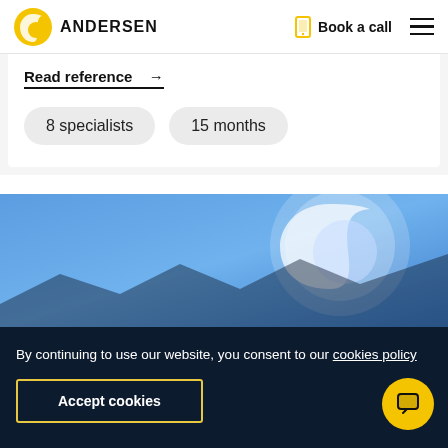ANDERSEN | Book a call
Read reference →
8 specialists
15 months
[Figure (illustration): Blue background illustration with a large white circular Andersen-style logo/moon shape in the upper right area]
By continuing to use our website, you consent to our cookies policy
Accept cookies